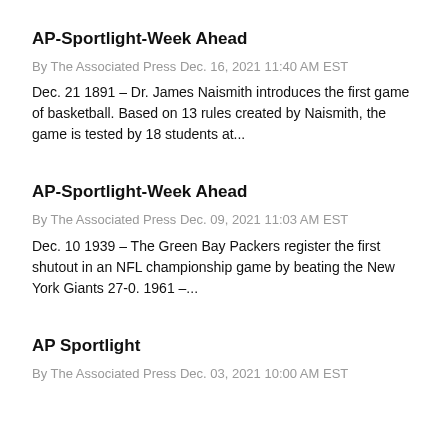AP-Sportlight-Week Ahead
By The Associated Press Dec. 16, 2021 11:40 AM EST
Dec. 21 1891 – Dr. James Naismith introduces the first game of basketball. Based on 13 rules created by Naismith, the game is tested by 18 students at...
AP-Sportlight-Week Ahead
By The Associated Press Dec. 09, 2021 11:03 AM EST
Dec. 10 1939 – The Green Bay Packers register the first shutout in an NFL championship game by beating the New York Giants 27-0. 1961 –...
AP Sportlight
By The Associated Press Dec. 03, 2021 10:00 AM EST